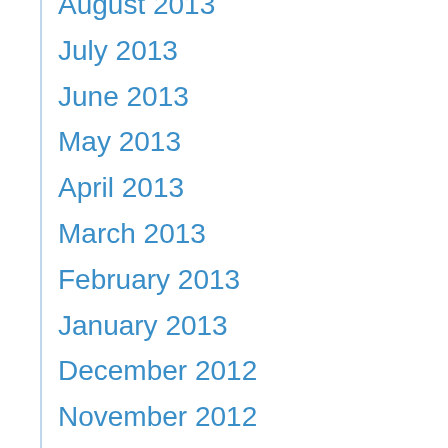August 2013
July 2013
June 2013
May 2013
April 2013
March 2013
February 2013
January 2013
December 2012
November 2012
October 2012
September 2012
August 2012
July 2012
June 2012